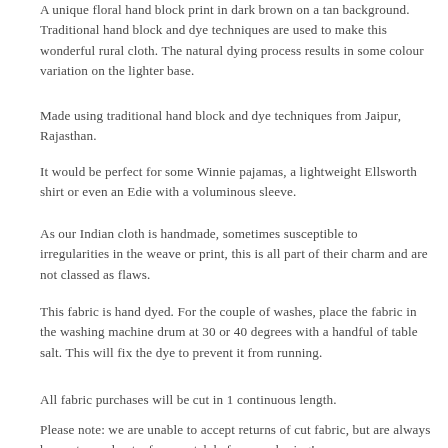A unique floral hand block print in dark brown on a tan background. Traditional hand block and dye techniques are used to make this wonderful rural cloth. The natural dying process results in some colour variation on the lighter base.
Made using traditional hand block and dye techniques from Jaipur, Rajasthan.
It would be perfect for some Winnie pajamas, a lightweight Ellsworth shirt or even an Edie with a voluminous sleeve.
As our Indian cloth is handmade, sometimes susceptible to irregularities in the weave or print, this is all part of their charm and are not classed as flaws.
This fabric is hand dyed. For the couple of washes, place the fabric in the washing machine drum at 30 or 40 degrees with a handful of table salt. This will fix the dye to prevent it from running.
All fabric purchases will be cut in 1 continuous length.
Please note: we are unable to accept returns of cut fabric, but are always happy to send out a free swatch before purchasing!